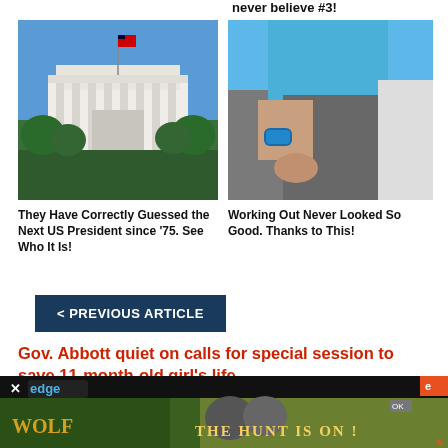never believe #3!
[Figure (photo): White House with American flag and blue sky, green trees in foreground]
[Figure (photo): Person in fitness wear (blue top, grey leggings) with blue smartwatch on wrist]
They Have Correctly Guessed the Next US President since '75. See Who It Is!
Working Out Never Looked So Good. Thanks to This!
< PREVIOUS ARTICLE
Gov. Abbott quiet on calls for special session to save 11-month-old girl's life
NEXT ARTICLE >
[Figure (screenshot): Advertisement banner: edge logo with cat/wolf image and 'THE HUNT IS ON!' text]